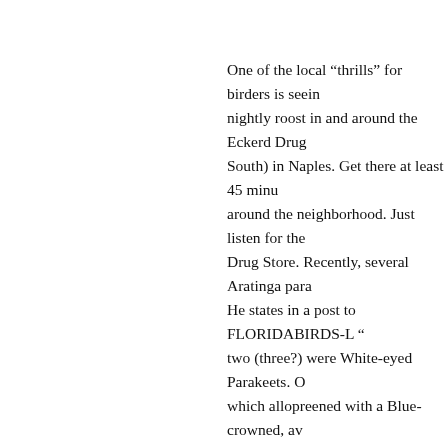One of the local “thrills” for birders is seeing nightly roost in and around the Eckerd Drug South) in Naples. Get there at least 45 minu around the neighborhood. Just listen for the Drug Store. Recently, several Aratinga para He states in a post to FLORIDABIRDS-L “ two (three?) were White-eyed Parakeets. O which allopreened with a Blue-crowned, av either a Mitred Parakeet or a Red-masked P Parakeets in the Naples area as well. These beginning in late December 2001, the Rose- their traditional evening roosts near the Eck of 2002 they reappeared there and then mys flocks have been reported near the Naples F Collier’s Reserve in North Naples. UPDAT relocated at the Venetian Village on Gulf Sh right on Park Shore from U.S. Rte. 41 if co Turn left. The Venetian Village is just to the